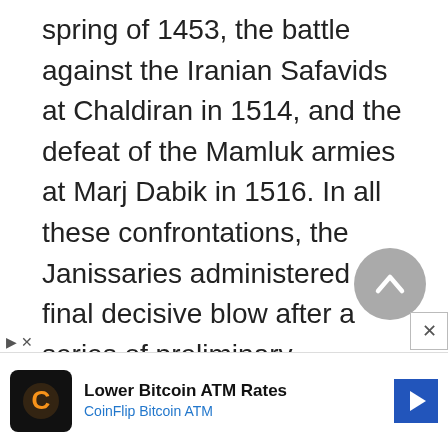spring of 1453, the battle against the Iranian Safavids at Chaldiran in 1514, and the defeat of the Mamluk armies at Marj Dabik in 1516. In all these confrontations, the Janissaries administered the final decisive blow after a series of preliminary assaults, usually in swift gunfire attacks. Each of these encounters fueled European perceptions of the Janissary corps as a kind of Ottoman "secret weapon" able to use firearms more effectively tha...
[Figure (other): Circular grey scroll-to-top button with upward chevron arrow]
[Figure (other): Advertisement banner: CoinFlip Bitcoin ATM - Lower Bitcoin ATM Rates, with logo and directional arrow icon]